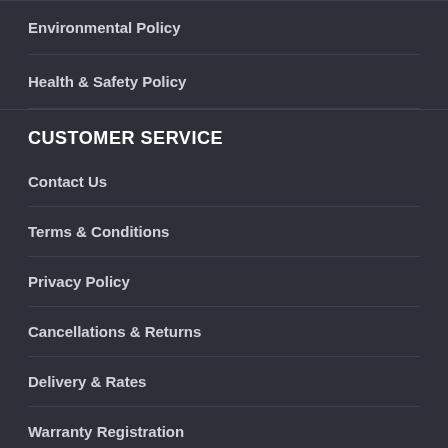Environmental Policy
Health & Safety Policy
CUSTOMER SERVICE
Contact Us
Terms & Conditions
Privacy Policy
Cancellations & Returns
Delivery & Rates
Warranty Registration
BE INSPIRED